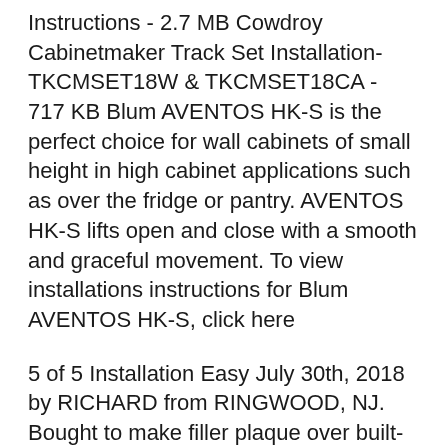Instructions - 2.7 MB Cowdroy Cabinetmaker Track Set Installation-TKCMSET18W & TKCMSET18CA - 717 KB Blum AVENTOS HK-S is the perfect choice for wall cabinets of small height in high cabinet applications such as over the fridge or pantry. AVENTOS HK-S lifts open and close with a smooth and graceful movement. To view installations instructions for Blum AVENTOS HK-S, click here
5 of 5 Installation Easy July 30th, 2018 by RICHARD from RINGWOOD, NJ. Bought to make filler plaque over built-in refrigerator open up for access. Followed instructions and measured carefully and it closed perfectly the first